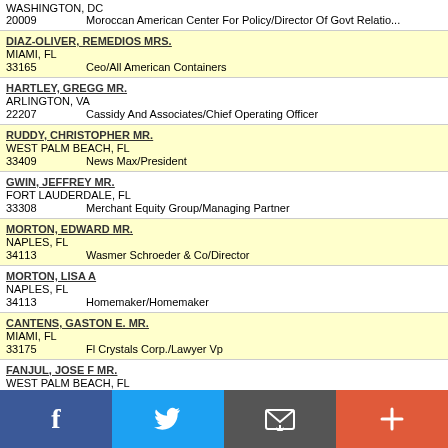WASHINGTON, DC
20009 | Moroccan American Center For Policy/Director Of Govt Relations
DIAZ-OLIVER, REMEDIOS MRS.
MIAMI, FL
33165 | Ceo/All American Containers
HARTLEY, GREGG MR.
ARLINGTON, VA
22207 | Cassidy And Associates/Chief Operating Officer
RUDDY, CHRISTOPHER MR.
WEST PALM BEACH, FL
33409 | News Max/President
GWIN, JEFFREY MR.
FORT LAUDERDALE, FL
33308 | Merchant Equity Group/Managing Partner
MORTON, EDWARD MR.
NAPLES, FL
34113 | Wasmer Schroeder & Co/Director
MORTON, LISA A
NAPLES, FL
34113 | Homemaker/Homemaker
CANTENS, GASTON E. MR.
MIAMI, FL
33175 | Fl Crystals Corp./Lawyer Vp
FANJUL, JOSE F MR.
WEST PALM BEACH, FL